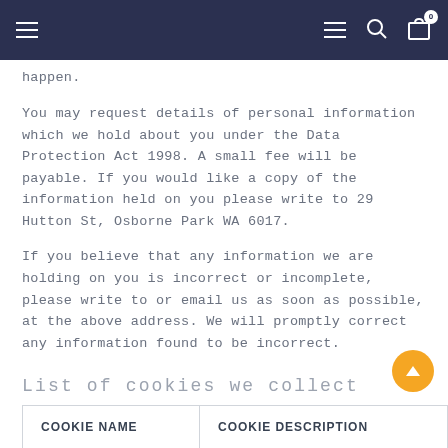Navigation bar with hamburger menu, lines icon, search icon, and cart icon (0 items)
happen.
You may request details of personal information which we hold about you under the Data Protection Act 1998. A small fee will be payable. If you would like a copy of the information held on you please write to 29 Hutton St, Osborne Park WA 6017.
If you believe that any information we are holding on you is incorrect or incomplete, please write to or email us as soon as possible, at the above address. We will promptly correct any information found to be incorrect.
List of cookies we collect
The table below lists the cookies we collect and what information they store.
| COOKIE NAME | COOKIE DESCRIPTION |
| --- | --- |